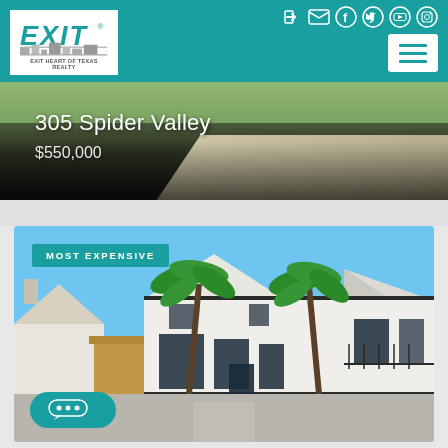[Figure (logo): EXIT Heart of Texas Realty logo - teal letters on white background]
[Figure (illustration): Social media icons: login, email, facebook, twitter, youtube, instagram in white on teal header]
[Figure (illustration): Hamburger menu button (three horizontal lines) in white box on right side of header]
[Figure (photo): Aerial/street view of 305 Spider Valley property listing]
305 Spider Valley
$550,000
[Figure (photo): Luxury white modern home with dark trim, palm trees, multiple stories - labeled MOST EXPENSIVE]
MOST EXPENSIVE
[Figure (illustration): Teal chat/messaging bubble button with three dots]